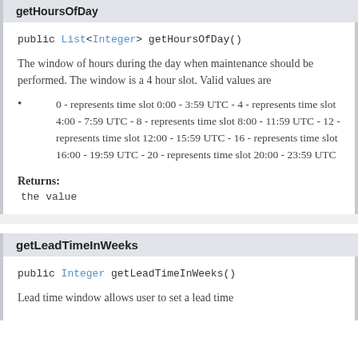getHoursOfDay
public List<Integer> getHoursOfDay()
The window of hours during the day when maintenance should be performed. The window is a 4 hour slot. Valid values are
0 - represents time slot 0:00 - 3:59 UTC - 4 - represents time slot 4:00 - 7:59 UTC - 8 - represents time slot 8:00 - 11:59 UTC - 12 - represents time slot 12:00 - 15:59 UTC - 16 - represents time slot 16:00 - 19:59 UTC - 20 - represents time slot 20:00 - 23:59 UTC
Returns:
the value
getLeadTimeInWeeks
public Integer getLeadTimeInWeeks()
Lead time window allows user to set a lead time